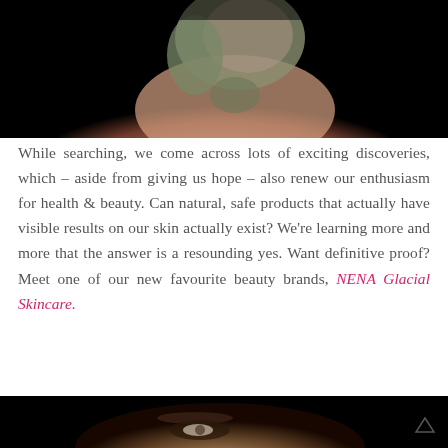[Figure (photo): Woman with clay/mud mask applied to face and neck against black background]
While searching, we come across lots of exciting discoveries, which – aside from giving us hope – also renew our enthusiasm for health & beauty. Can natural, safe products that actually have visible results on our skin actually exist? We're learning more and more that the answer is a resounding yes. Want definitive proof? Meet one of our new favourite beauty brands, NENA Glacial Skincare.
[Figure (photo): Close-up partial photo at bottom of page showing eyes/face against dark background]